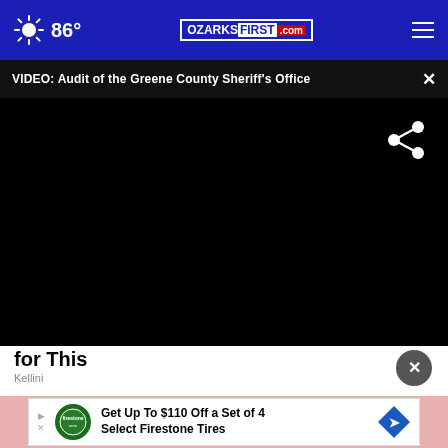86° OZARKSFIRST.com
VIDEO: Audit of the Greene County Sheriff's Office
[Figure (screenshot): Black video player area with share icon (three connected circles) in top-right corner]
for This
Kellini
[Figure (infographic): Advertisement banner: Get Up To $110 Off a Set of 4 Select Firestone Tires, with Firestone auto logo and blue diamond arrow icon]